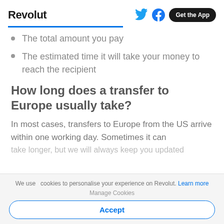Revolut — Get the App
The total amount you pay
The estimated time it will take your money to reach the recipient
How long does a transfer to Europe usually take?
In most cases, transfers to Europe from the US arrive within one working day. Sometimes it can take longer, but we will always keep you updated
We use cookies to personalise your experience on Revolut. Learn more
Manage Cookies
Accept